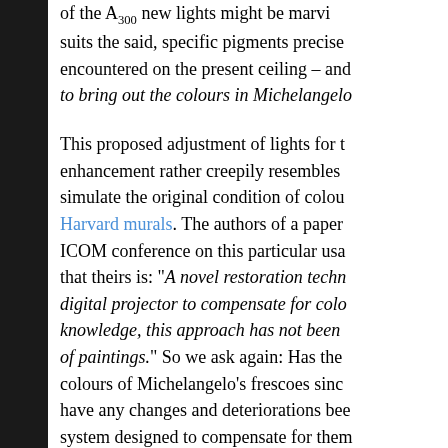of the A300 new lights might be marv suits the said, specific pigments precise encountered on the present ceiling – and to bring out the colours in Michelangelo
This proposed adjustment of lights for the enhancement rather creepily resembles simulate the original condition of colours Harvard murals. The authors of a paper ICOM conference on this particular usage that theirs is: "A novel restoration technique digital projector to compensate for colour knowledge, this approach has not been of paintings." So we ask again: Has the colours of Michelangelo's frescoes since have any changes and deteriorations been system designed to compensate for them to launch by stealth what will be the world's restoration?
Michael Daley